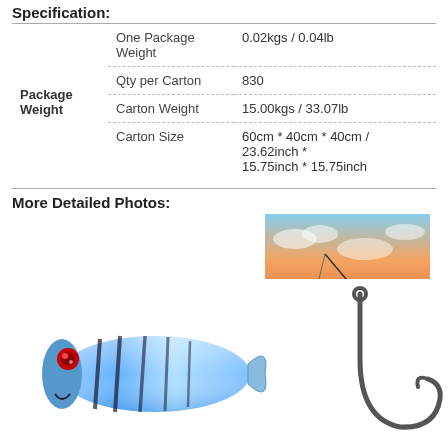Specification:
|  | Field | Value |
| --- | --- | --- |
| Package Weight | One Package Weight | 0.02kgs / 0.04lb |
|  | Qty per Carton | 830 |
|  | Carton Weight | 15.00kgs / 33.07lb |
|  | Carton Size | 60cm * 40cm * 40cm / 23.62inch * 15.75inch * 15.75inch |
More Detailed Photos:
[Figure (photo): Silhouette of a fisherman casting a rod on a boat at sunset]
[Figure (photo): Blue fishing lure with red eye and striped pattern, and a large fishing hook]